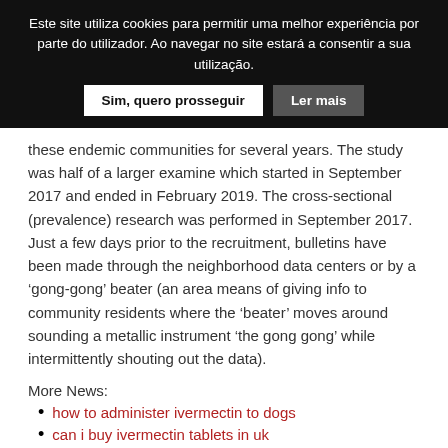Este site utiliza cookies para permitir uma melhor experiência por parte do utilizador. Ao navegar no site estará a consentir a sua utilização.
these endemic communities for several years. The study was half of a larger examine which started in September 2017 and ended in February 2019. The cross-sectional (prevalence) research was performed in September 2017. Just a few days prior to the recruitment, bulletins have been made through the neighborhood data centers or by a 'gong-gong' beater (an area means of giving info to community residents where the 'beater' moves around sounding a metallic instrument 'the gong gong' while intermittently shouting out the data).
More News:
how to administer ivermectin to dogs
can i buy ivermectin tablets in uk
where to purchase ivermectin in south africa
stromectol pill for lice